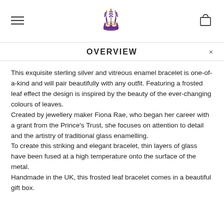[Navigation: hamburger menu, Prince of Wales feathers logo, shopping bag icon]
OVERVIEW
This exquisite sterling silver and vitreous enamel bracelet is one-of-a-kind and will pair beautifully with any outfit. Featuring a frosted leaf effect the design is inspired by the beauty of the ever-changing colours of leaves.
Created by jewellery maker Fiona Rae, who began her career with a grant from the Prince's Trust, she focuses on attention to detail and the artistry of traditional glass enamelling.
To create this striking and elegant bracelet, thin layers of glass have been fused at a high temperature onto the surface of the metal.
Handmade in the UK, this frosted leaf bracelet comes in a beautiful gift box.